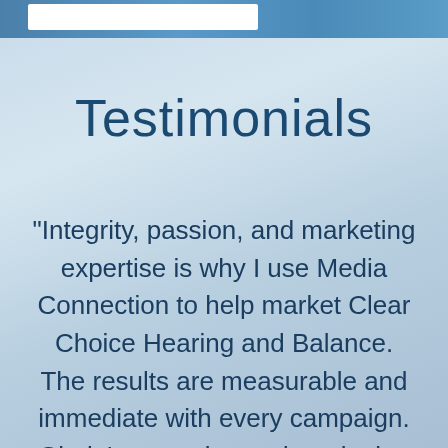Testimonials
"Integrity, passion, and marketing expertise is why I use Media Connection to help market Clear Choice Hearing and Balance. The results are measurable and immediate with every campaign. Gloria's expertise and marketing